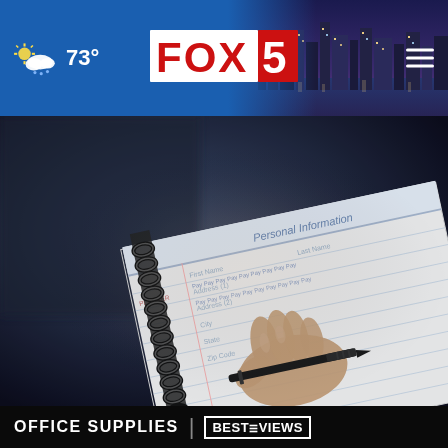FOX 5 — 73° weather, city skyline header with navigation
[Figure (photo): A hand writing in a spiral-bound notebook with a pen, placed on a dark desk surface. The notebook shows form-like content. Background is blurred dark blue-grey.]
OFFICE SUPPLIES | BESTREVIEWS